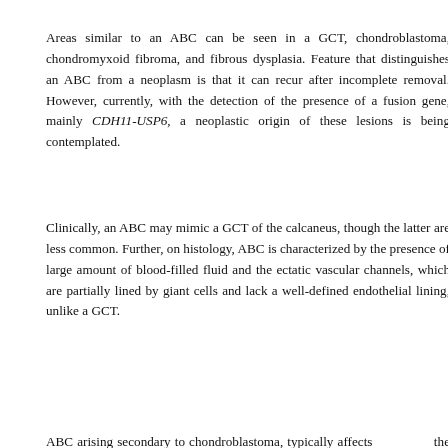Areas similar to an ABC can be seen in a GCT, chondroblastoma, chondromyxoid fibroma, and fibrous dysplasia. Feature that distinguishes an ABC from a neoplasm is that it can recur after incomplete removal. However, currently, with the detection of the presence of a fusion gene, mainly CDH11-USP6, a neoplastic origin of these lesions is being contemplated.
Clinically, an ABC may mimic a GCT of the calcaneus, though the latter are less common. Further, on histology, ABC is characterized by the presence of large amount of blood-filled fluid and the ectatic vascular channels, which are partially lined by giant cells and lack a well-defined endothelial lining, unlike a GCT.
ABC arising secondary to chondroblastoma, typically affects the epiphysis and shows features which make it distinct from primary ABC. Radiologically, ABC is characterized by a soft tissue component and expansile lytic lesion with typical mitotic figures.
90-95%, [7] recurrence. n intralesion observed for time to exclude any recurrence. However, in the present case, since the patient up after an initial observation of 3 months, this was not possible.
[Figure (screenshot): Cookie consent overlay with text 'This website uses cookies. By continuing to use this website you are giving consent to cookies being used. For information on cookies and how you can disable them visit our Privacy and Cookie Policy.' and a red 'AGREE & PROCEED' button.]